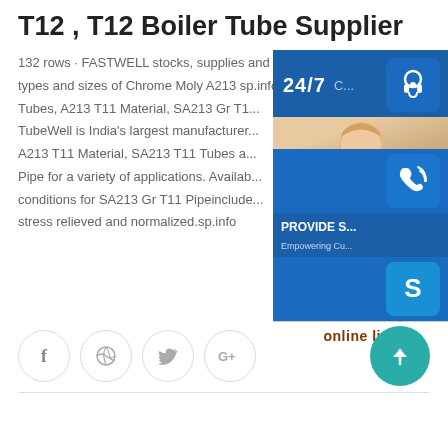T12 , T12 Boiler Tube Supplier
132 rows · FASTWELL stocks, supplies and delivers all types and sizes of Chrome Moly A213 sp.info SA... Tubes, A213 T11 Material, SA213 Gr T1... TubeWell is India's largest manufacturer... A213 T11 Material, SA213 T11 Tubes a... Pipe for a variety of applications. Availab... conditions for SA213 Gr T11 Pipeinclude... stress relieved and normalized.sp.info
[Figure (screenshot): Customer support overlay panel with 24/7 label, headset icon, phone icon, Skype icon, agent photo, PROVIDE Empowering Customers text, and online live button]
[Figure (screenshot): Social media share icons row: Facebook, Dribbble, Twitter, Google+; and teal scroll-to-top button]